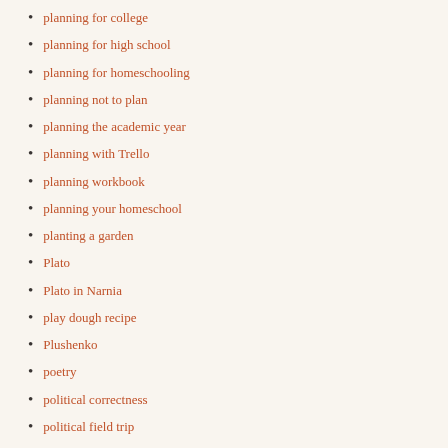planning for college
planning for high school
planning for homeschooling
planning not to plan
planning the academic year
planning with Trello
planning workbook
planning your homeschool
planting a garden
Plato
Plato in Narnia
play dough recipe
Plushenko
poetry
political correctness
political field trip
political science